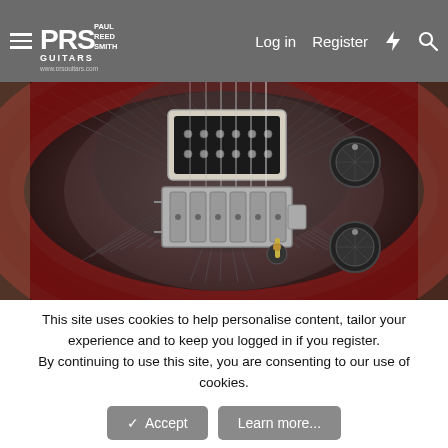PRS Paul Reed Smith Guitars — www.prsguitars.com | Log in | Register
[Figure (photo): Close-up photo of the body of a PRS electric guitar with flame maple top in a dark cherry burst finish, showing bridge pickup, tremolo bridge, volume and tone knobs, and pickup selector switch.]
This site uses cookies to help personalise content, tailor your experience and to keep you logged in if you register.
By continuing to use this site, you are consenting to our use of cookies.
✓ Accept   Learn more...